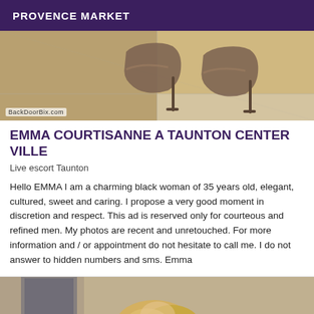PROVENCE MARKET
[Figure (photo): Photo of high heeled shoes on a tiled floor with BackDoorBix.com watermark]
EMMA COURTISANNE A TAUNTON CENTER VILLE
Live escort Taunton
Hello EMMA I am a charming black woman of 35 years old, elegant, cultured, sweet and caring. I propose a very good moment in discretion and respect. This ad is reserved only for courteous and refined men. My photos are recent and unretouched. For more information and / or appointment do not hesitate to call me. I do not answer to hidden numbers and sms. Emma
[Figure (photo): Partial photo of a blonde-haired person, cropped at the bottom of the page]